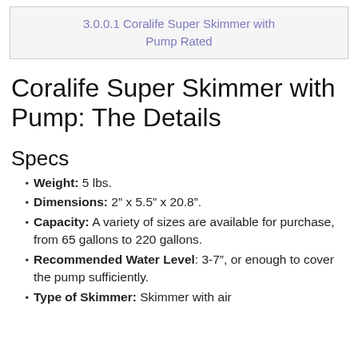3.0.0.1 Coralife Super Skimmer with Pump Rated
Coralife Super Skimmer with Pump: The Details
Specs
Weight: 5 lbs.
Dimensions: 2” x 5.5” x 20.8”.
Capacity: A variety of sizes are available for purchase, from 65 gallons to 220 gallons.
Recommended Water Level: 3-7”, or enough to cover the pump sufficiently.
Type of Skimmer: Skimmer with air